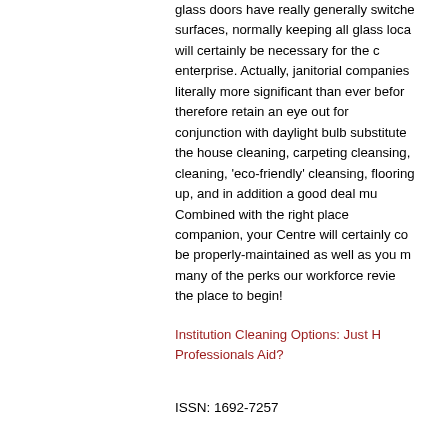glass doors have really generally switched surfaces, normally keeping all glass loca will certainly be necessary for the c enterprise. Actually, janitorial companies literally more significant than ever befor therefore retain an eye out for conjunction with daylight bulb substitute the house cleaning, carpeting cleansing, cleaning, 'eco-friendly' cleansing, flooring up, and in addition a good deal mu Combined with the right place companion, your Centre will certainly co be properly-maintained as well as you m many of the perks our workforce revie the place to begin!
Institution Cleaning Options: Just H Professionals Aid?
ISSN: 1692-7257